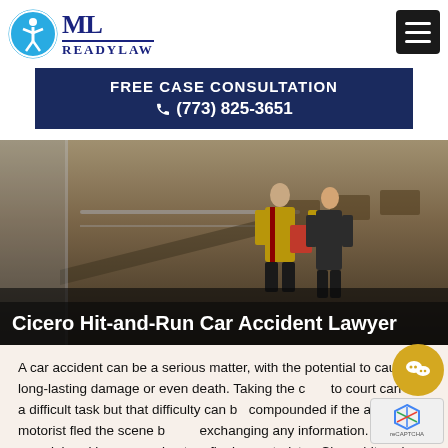ML ReadyLaw
FREE CASE CONSULTATION ☎ (773) 825-3651
[Figure (photo): Interior architectural photo of a building lobby/courthouse with two people (a man in a suit and a woman in dark clothing) looking at a document together on a staircase.]
Cicero Hit-and-Run Car Accident Lawyer
A car accident can be a serious matter, with the potential to cause long-lasting damage or even death. Taking the case to court can be a difficult task but that difficulty can be compounded if the at-fault motorist fled the scene before exchanging any information. If you were injured in a crash due to a fleeing motorist, a Cicero hit-and-run car accident